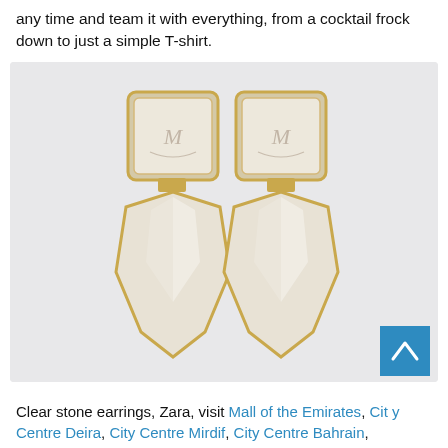any time and team it with everything, from a cocktail frock down to just a simple T-shirt.
[Figure (photo): Two clear stone drop earrings with gold frames. Each earring has a square top part with an engraved logo and a pointed kite/shield-shaped semi-transparent clear stone pendant below.]
Clear stone earrings, Zara, visit Mall of the Emirates, City Centre Deira, City Centre Mirdif, City Centre Bahrain,